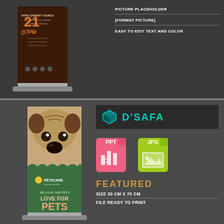[Figure (illustration): Top section dark gray background with a roll-up banner mockup showing church event design (brown background, orange number 21, @7PM text, Hope Community Church details). Right side shows feature text lines.]
PICTURE PLACEHOLDER
[FORMAT PICTURE]
EASY TO EDIT TEXT AND COLOR
[Figure (illustration): Bottom section dark gray background with a pet care roll-up banner mockup showing a pug dog photo and green section with 'LOVE FOR PETS' text and PetsCare logo. Right side shows D'SAFA brand logo, PPT and JPG file format icons, and Featured section with SIZE 30 CM X 70 CM and FILE READY TO PRINT.]
D'SAFA
PPT
JPG
FEATURED
SIZE 30 CM X 70 CM
FILE READY TO PRINT